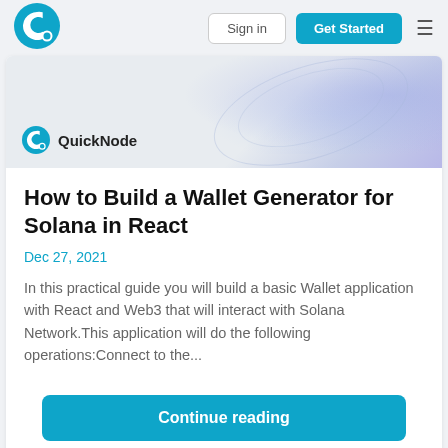Sign in | Get Started
[Figure (logo): QuickNode logo - Q icon in teal circle with QuickNode text in the hero banner]
How to Build a Wallet Generator for Solana in React
Dec 27, 2021
In this practical guide you will build a basic Wallet application with React and Web3 that will interact with Solana Network.This application will do the following operations:Connect to the...
Continue reading